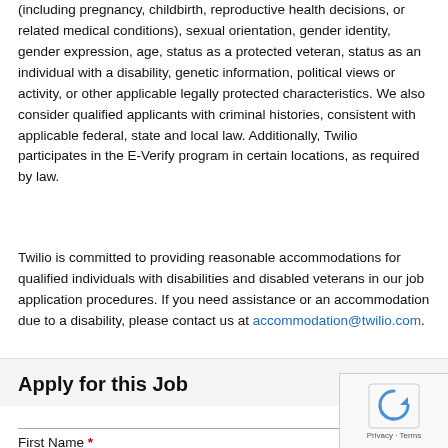(including pregnancy, childbirth, reproductive health decisions, or related medical conditions), sexual orientation, gender identity, gender expression, age, status as a protected veteran, status as an individual with a disability, genetic information, political views or activity, or other applicable legally protected characteristics. We also consider qualified applicants with criminal histories, consistent with applicable federal, state and local law. Additionally, Twilio participates in the E-Verify program in certain locations, as required by law.
Twilio is committed to providing reasonable accommodations for qualified individuals with disabilities and disabled veterans in our job application procedures. If you need assistance or an accommodation due to a disability, please contact us at accommodation@twilio.com.
Apply for this Job
* Required
First Name *